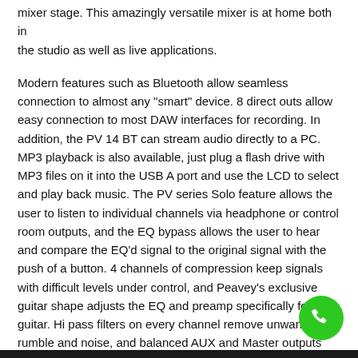mixer stage. This amazingly versatile mixer at at home both in the studio as well as live applications.
Modern features such as Bluetooth allow seamless connection to almost any "smart" device. 8 direct outs allow easy connection to most DAW interfaces for recording. In addition, the PV 14 BT can stream audio directly to a PC. MP3 playback is also available, just plug a flash drive with MP3 files on it into the USB A port and use the LCD to select and play back music. The PV series Solo feature allows the user to listen to individual channels via headphone or control room outputs, and the EQ bypass allows the user to hear and compare the EQ'd signal to the original signal with the push of a button. 4 channels of compression keep signals with difficult levels under control, and Peavey's exclusive guitar shape adjusts the EQ and preamp specifically for guitar. Hi pass filters on every channel remove unwanted rumble and noise, and balanced AUX and Master outputs ensure a clean noise-free signal to powered speakers or power amplifier
[Figure (other): Green circular phone/call button icon in bottom right corner]